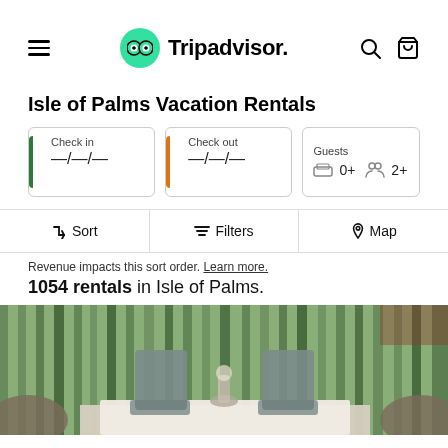[Figure (logo): Tripadvisor navigation header with hamburger menu, Tripadvisor owl logo, search icon and cart icon]
Isle of Palms Vacation Rentals
Check in —/—/—
Check out —/—/—
Guests 0+ 2+
Sort   Filters   Map
Revenue impacts this sort order. Learn more.
1054 rentals in Isle of Palms.
[Figure (photo): Photo of a dining area with chairs and table, viewed from a porch or balcony with palm trees visible in the background]